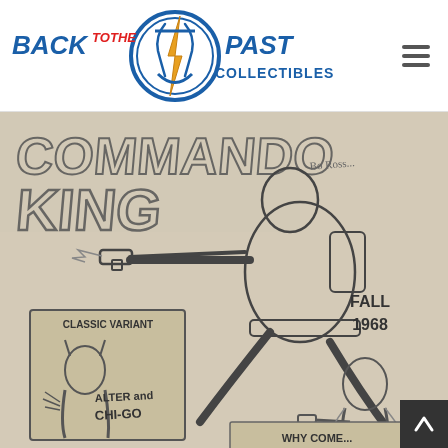[Figure (logo): Back to the Past Collectibles logo — stylized compass/clock with an arrow, blue banner text reading BACK TO THE PAST in bold italic, red accent on TO THE, and COLLECTIBLES in blue below]
[Figure (photo): Black and white comic book cover original art for Commando King, Fall 1968. Shows a muscular hero in action pose shooting a gun, lettering reads COMMANDO KING at top. Inset panels show Classic Variant and characters labeled ALTER and CHI-GO. A smaller figure with a gun appears bottom right.]